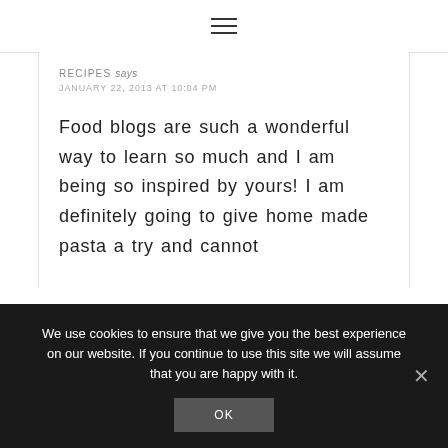≡
RECIPES says
JANUARY 22, 2013 AT 10:04 PM
Food blogs are such a wonderful way to learn so much and I am being so inspired by yours! I am definitely going to give home made pasta a try and cannot
We use cookies to ensure that we give you the best experience on our website. If you continue to use this site we will assume that you are happy with it.
OK